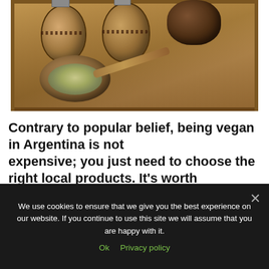[Figure (photo): A wooden tray holding two decorated gourd mate cups with metal straws, a dark round vessel, a wooden bowl filled with dried yerba mate herb, and a wooden spoon.]
Contrary to popular belief, being vegan in Argentina is not expensive; you just need to choose the right local products. It's worth mentioning that some products that are easily found in the United States
We use cookies to ensure that we give you the best experience on our website. If you continue to use this site we will assume that you are happy with it.
Ok  Privacy policy